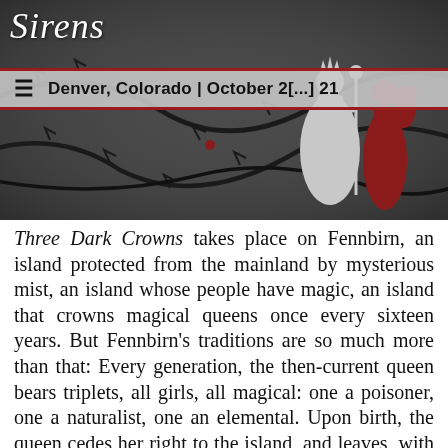[Figure (illustration): Sirens conference website header showing the Sirens logo in italic script, a navigation bar with hamburger menu icon and text 'Denver, Colorado | October 2[...] 21', silhouettes of two fantasy figures (a queen in white with a staff/scepter and a red figure), against a dark grey background with thorny vines]
Three Dark Crowns takes place on Fennbirn, an island protected from the mainland by mysterious mist, an island whose people have magic, an island that crowns magical queens once every sixteen years. But Fennbirn's traditions are so much more than that: Every generation, the then-current queen bears triplets, all girls, all magical: one a poisoner, one a naturalist, one an elemental. Upon birth, the queen cedes her right to the island, and leaves, with her king-consort (never king, always king-consort), to live happily ever after (or whatever)